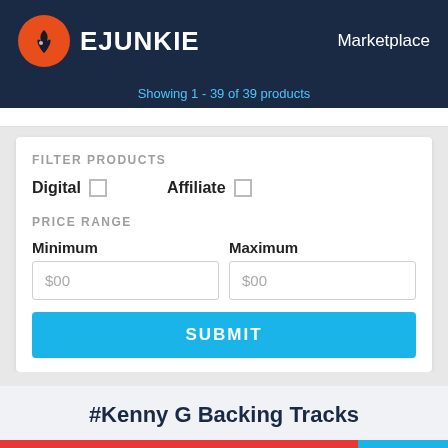EJUNKIE  Marketplace
Showing 1 - 39 of 39 products
FILTER PRODUCTS
Digital  [checkbox]  Affiliate  [checkbox]
PRICE RANGE
Minimum  $00    Maximum  $00
SUBMIT
#Kenny G Backing Tracks
USD 15.00